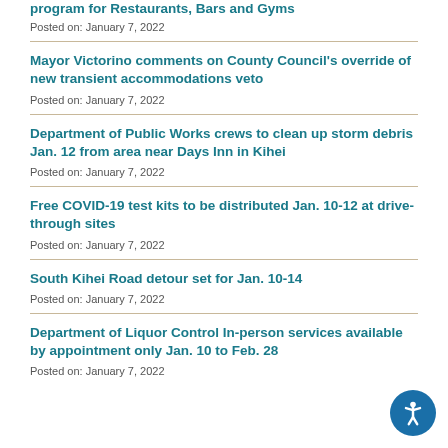program for Restaurants, Bars and Gyms
Posted on: January 7, 2022
Mayor Victorino comments on County Council's override of new transient accommodations veto
Posted on: January 7, 2022
Department of Public Works crews to clean up storm debris Jan. 12 from area near Days Inn in Kihei
Posted on: January 7, 2022
Free COVID-19 test kits to be distributed Jan. 10-12 at drive-through sites
Posted on: January 7, 2022
South Kihei Road detour set for Jan. 10-14
Posted on: January 7, 2022
Department of Liquor Control In-person services available by appointment only Jan. 10 to Feb. 28
Posted on: January 7, 2022